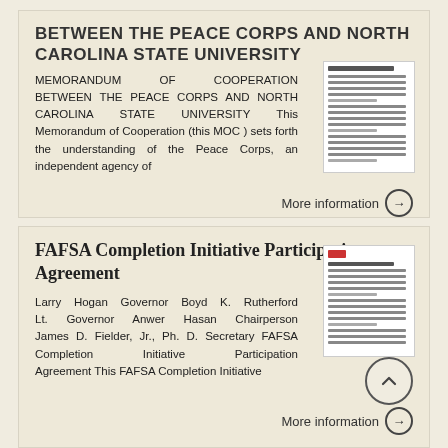BETWEEN THE PEACE CORPS AND NORTH CAROLINA STATE UNIVERSITY
MEMORANDUM OF COOPERATION BETWEEN THE PEACE CORPS AND NORTH CAROLINA STATE UNIVERSITY This Memorandum of Cooperation (this MOC ) sets forth the understanding of the Peace Corps, an independent agency of
More information →
FAFSA Completion Initiative Participation Agreement
Larry Hogan Governor Boyd K. Rutherford Lt. Governor Anwer Hasan Chairperson James D. Fielder, Jr., Ph. D. Secretary FAFSA Completion Initiative Participation Agreement This FAFSA Completion Initiative
More information →